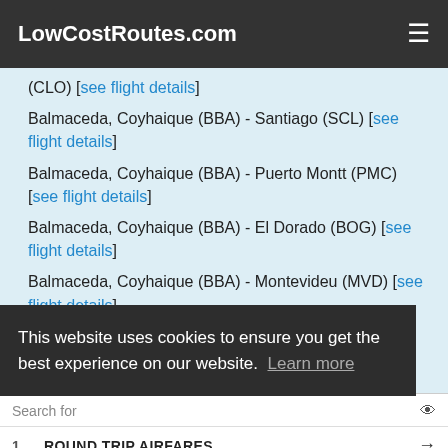LowCostRoutes.com
(CLO) [see flight details]
Balmaceda, Coyhaique (BBA) - Santiago (SCL) [see flight details]
Balmaceda, Coyhaique (BBA) - Puerto Montt (PMC) [see flight details]
Balmaceda, Coyhaique (BBA) - El Dorado (BOG) [see flight details]
Balmaceda, Coyhaique (BBA) - Montevideu (MVD) [see flight details]
This website uses cookies to ensure you get the best experience on our website. Learn more
Search for
1. ROUND TRIP AIRFARES →
2. SENIOR CITIZEN AIRFARE DISCOUNT →
Ad | Business Focus